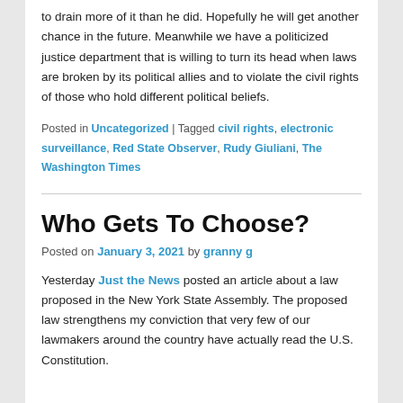to drain more of it than he did. Hopefully he will get another chance in the future. Meanwhile we have a politicized justice department that is willing to turn its head when laws are broken by its political allies and to violate the civil rights of those who hold different political beliefs.
Posted in Uncategorized | Tagged civil rights, electronic surveillance, Red State Observer, Rudy Giuliani, The Washington Times
Who Gets To Choose?
Posted on January 3, 2021 by granny g
Yesterday Just the News posted an article about a law proposed in the New York State Assembly. The proposed law strengthens my conviction that very few of our lawmakers around the country have actually read the U.S. Constitution.